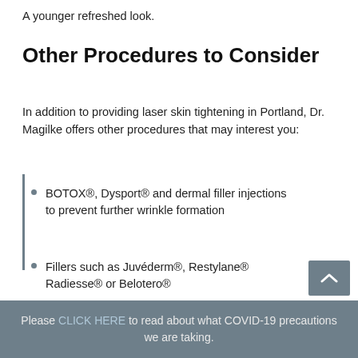A younger refreshed look.
Other Procedures to Consider
In addition to providing laser skin tightening in Portland, Dr. Magilke offers other procedures that may interest you:
BOTOX®, Dysport® and dermal filler injections to prevent further wrinkle formation
Fillers such as Juvéderm®, Restylane® Radiesse® or Belotero®
Intense Pulsed Light
Please CLICK HERE to read about what COVID-19 precautions we are taking.